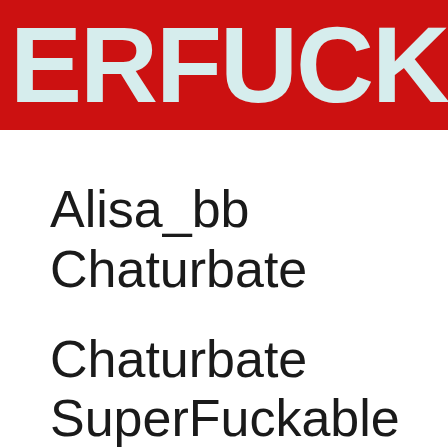ERFUCKA
Alisa_bb Chaturbate
Chaturbate SuperFuckable CamGirls